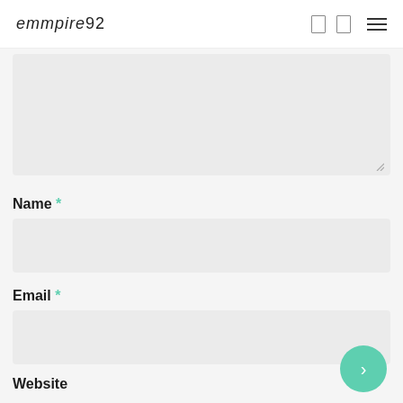empire92
[Figure (screenshot): Textarea form field (empty, light gray background) with resize handle at bottom-right corner]
Name *
[Figure (screenshot): Name text input field (empty, light gray background)]
Email *
[Figure (screenshot): Email text input field (empty, light gray background)]
Website